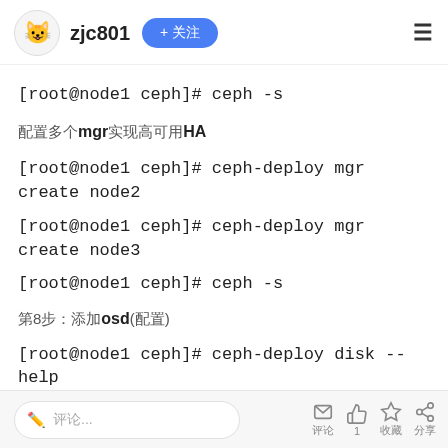zjc801 + 关注
[root@node1 ceph]# ceph -s
配置多个mgr实现高可用HA
[root@node1 ceph]# ceph-deploy mgr create node2
[root@node1 ceph]# ceph-deploy mgr create node3
[root@node1 ceph]# ceph -s
第8步：添加osd(配置)
[root@node1 ceph]# ceph-deploy disk --help
评论...  评论 1 收藏 分享